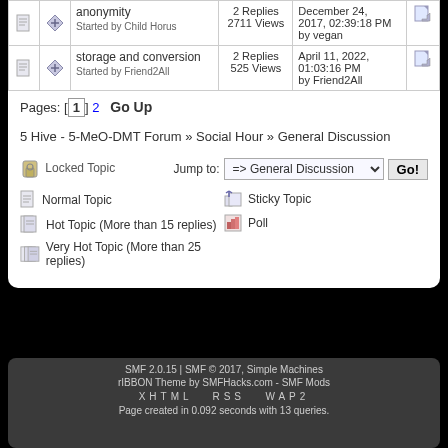|  |  | Topic | Replies/Views | Last Post |  |
| --- | --- | --- | --- | --- | --- |
|  |  | anonymity
Started by Child Horus | 2 Replies
2711 Views | December 24, 2017, 02:39:18 PM
by vegan |  |
|  |  | storage and conversion
Started by Friend2All | 2 Replies
525 Views | April 11, 2022, 01:03:16 PM
by Friend2All |  |
Pages: [1] 2   Go Up
5 Hive - 5-MeO-DMT Forum » Social Hour » General Discussion
Locked Topic    Jump to: => General Discussion   Go!
Normal Topic
Sticky Topic
Hot Topic (More than 15 replies)
Poll
Very Hot Topic (More than 25 replies)
SMF 2.0.15 | SMF © 2017, Simple Machines
rIBBON Theme by SMFHacks.com - SMF Mods
XHTML   RSS   WAP2
Page created in 0.092 seconds with 13 queries.